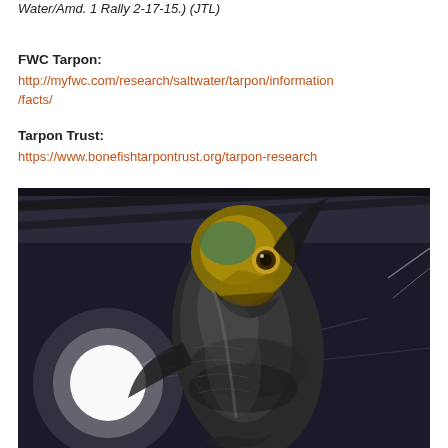Water/Amd. 1 Rally 2-17-15.) (JTL)
FWC Tarpon:
http://myfwc.com/research/saltwater/tarpon/information/facts/
Tarpon Trust:
https://www.bonefishtarpontrust.org/tarpon-research
[Figure (photo): Bronze or metallic sculpture of a tarpon fish leaping, photographed at night with a bright light visible in the background. The fish is depicted with open mouth facing the camera, detailed scales and fins visible.]